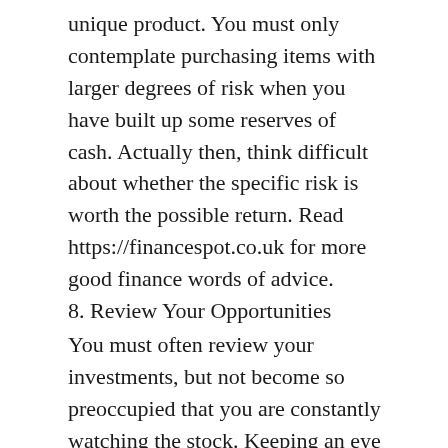unique product. You must only contemplate purchasing items with larger degrees of risk when you have built up some reserves of cash. Actually then, think difficult about whether the specific risk is worth the possible return. Read https://financespot.co.uk for more good finance words of advice.
8. Review Your Opportunities
You must often review your investments, but not become so preoccupied that you are constantly watching the stock. Keeping an eye on your opportunities allows you to evaluate their performance and regulate accordingly.
Your agent or broker should give you typical claims to help together with your review. But, prevent the temptation of adjusting your investment every time there's the slightest market fluctuation. Areas progress and down, and you should consider that when formulating